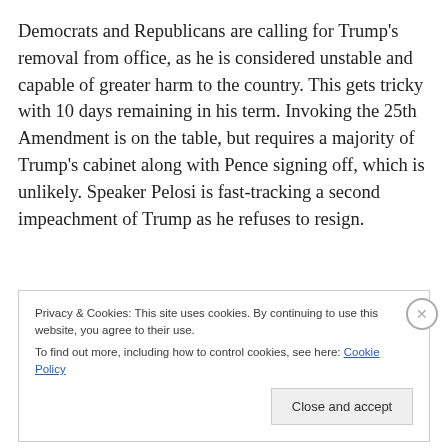Democrats and Republicans are calling for Trump's removal from office, as he is considered unstable and capable of greater harm to the country. This gets tricky with 10 days remaining in his term. Invoking the 25th Amendment is on the table, but requires a majority of Trump's cabinet along with Pence signing off, which is unlikely. Speaker Pelosi is fast-tracking a second impeachment of Trump as he refuses to resign.
Privacy & Cookies: This site uses cookies. By continuing to use this website, you agree to their use. To find out more, including how to control cookies, see here: Cookie Policy